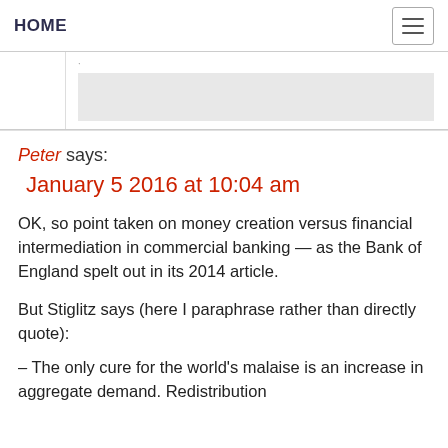HOME
Peter says:
January 5 2016 at 10:04 am
OK, so point taken on money creation versus financial intermediation in commercial banking — as the Bank of England spelt out in its 2014 article.
But Stiglitz says (here I paraphrase rather than directly quote):
– The only cure for the world's malaise is an increase in aggregate demand. Redistribution